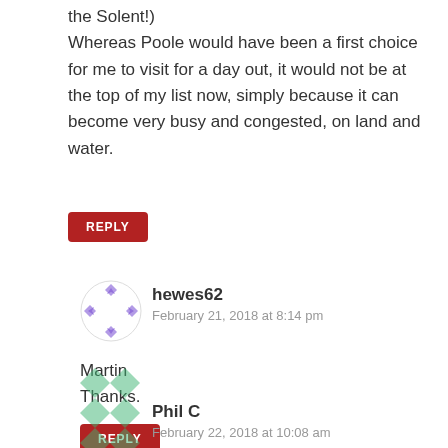the Solent!) Whereas Poole would have been a first choice for me to visit for a day out, it would not be at the top of my list now, simply because it can become very busy and congested, on land and water.
REPLY
hewes62
February 21, 2018 at 8:14 pm
Martin
Thanks.
REPLY
Phil C
February 22, 2018 at 10:08 am